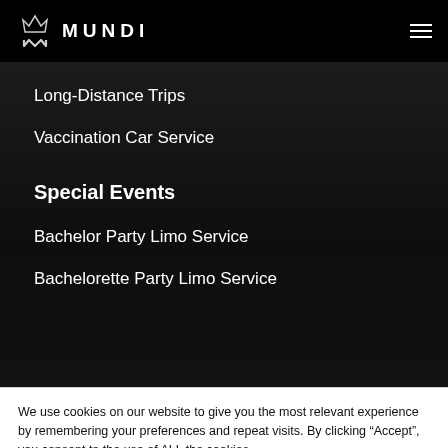MUNDI
Long-Distance Trips
Vaccination Car Service
Special Events
Bachelor Party Limo Service
Bachelorette Party Limo Service
We use cookies on our website to give you the most relevant experience by remembering your preferences and repeat visits. By clicking “Accept”, you consent to the use of ALL the cookies.
Cookie settings  ACCEPT  REJECT